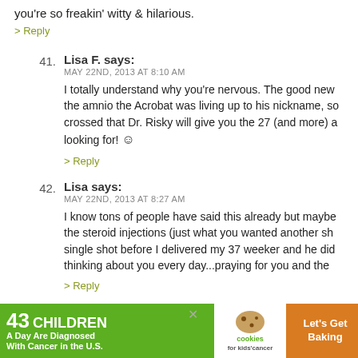you're so freakin' witty & hilarious.
> Reply
41. Lisa F. says:
MAY 22ND, 2013 AT 8:10 AM
I totally understand why you're nervous. The good new the amnio the Acrobat was living up to his nickname, so crossed that Dr. Risky will give you the 27 (and more) a looking for! :)
> Reply
42. Lisa says:
MAY 22ND, 2013 AT 8:27 AM
I know tons of people have said this already but maybe the steroid injections (just what you wanted another sh single shot before I delivered my 37 weeker and he did thinking about you every day...praying for you and the
> Reply
[Figure (infographic): Advertisement banner: '43 CHILDREN A Day Are Diagnosed With Cancer in the U.S.' with cookies for kids cancer logo and Let's Get Baking text on orange background]